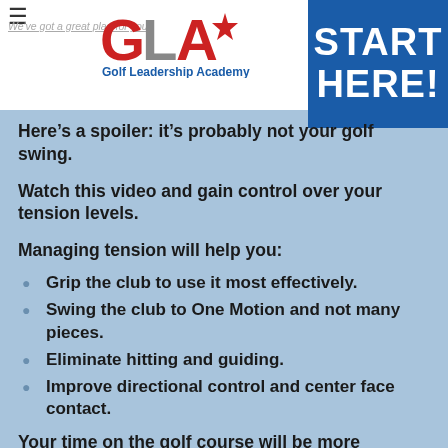Golf Leadership Academy — START HERE!
Here’s a spoiler: it’s probably not your golf swing.
Watch this video and gain control over your tension levels.
Managing tension will help you:
Grip the club to use it most effectively.
Swing the club to One Motion and not many pieces.
Eliminate hitting and guiding.
Improve directional control and center face contact.
Your time on the golf course will be more enjoyable and